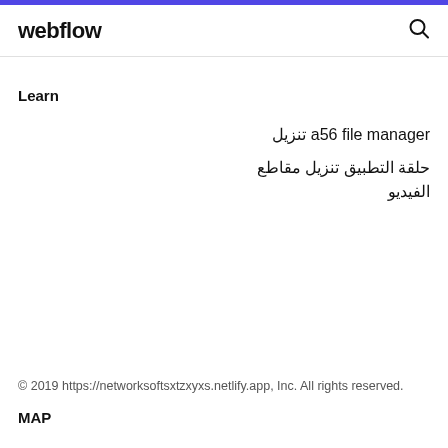webflow
Learn
a56 file manager تنزيل
حلقة التطبيق تنزيل مقاطع الفيديو
© 2019 https://networksoftsxtzxyxs.netlify.app, Inc. All rights reserved.
MAP